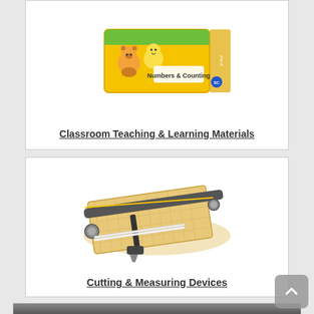[Figure (photo): Product image of Numbers & Counting educational materials box — yellow packaging with cartoon animals]
Classroom Teaching & Learning Materials
[Figure (photo): Product image of a paper trimmer / guillotine cutting board with wooden base and gray metal arm]
Cutting & Measuring Devices
[Figure (photo): Partial image of another product, partially visible at bottom of page]